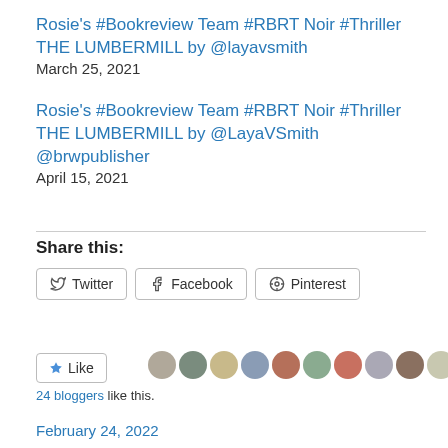Rosie's #Bookreview Team #RBRT Noir #Thriller THE LUMBERMILL by @layavsmith
March 25, 2021
Rosie's #Bookreview Team #RBRT Noir #Thriller THE LUMBERMILL by @LayaVSmith @brwpublisher
April 15, 2021
Share this:
Twitter  Facebook  Pinterest
Like  24 bloggers like this.
February 24, 2022